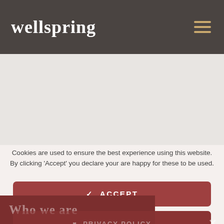wellspring
[Figure (screenshot): Gray background hero section of the Wellspring website]
Cookies are used to ensure the best experience using this website. By clicking 'Accept' you declare your are happy for these to be used.
✓  ACCEPT
✗  DON'T ACCEPT
♥  PRIVACY POLICY
Who we are